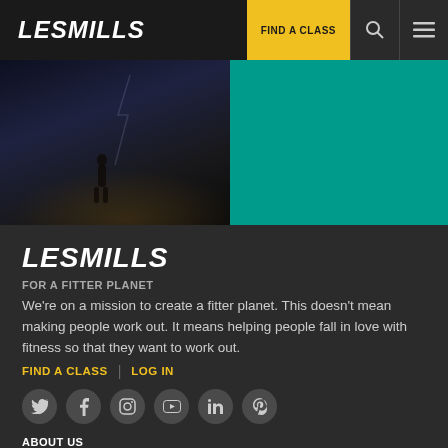LesMills | FIND A CLASS
[Figure (screenshot): Hero image split: left side dark atmospheric photo with silhouetted figure, right side teal/green color block]
LesMILLS
FOR A FITTER PLANET
We're on a mission to create a fitter planet. This doesn't mean making people work out. It means helping people fall in love with fitness so that they want to work out.
FIND A CLASS | LOG IN
[Figure (other): Social media icons row: Twitter, Facebook, Instagram, YouTube, LinkedIn, Pinterest]
ABOUT US
About Us
Research